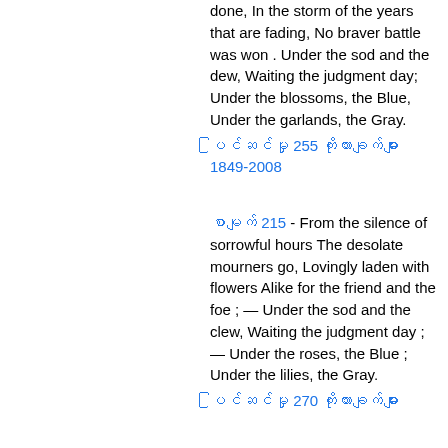done, In the storm of the years that are fading, No braver battle was won . Under the sod and the dew, Waiting the judgment day; Under the blossoms, the Blue, Under the garlands, the Gray.
ပြင်ဆင်မှု 255 ကိုးကားချက်များ 1849-2008
စာမျက် 215 - From the silence of sorrowful hours The desolate mourners go, Lovingly laden with flowers Alike for the friend and the foe ; — Under the sod and the clew, Waiting the judgment day ; — Under the roses, the Blue ; Under the lilies, the Gray.
ပြင်ဆင်မှု 270 ကိုးကားချက်များ